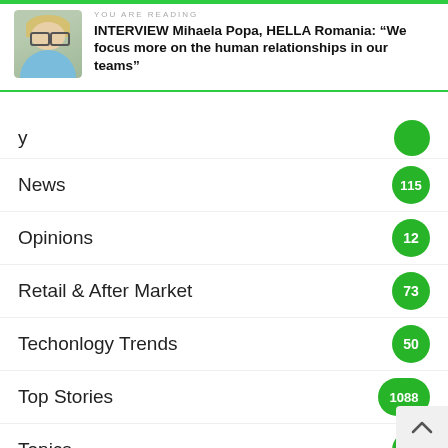YOU ARE READING
INTERVIEW Mihaela Popa, HELLA Romania: “We focus more on the human relationships in our teams”
... (partial)
News 115
Opinions 12
Retail & After Market 73
Techonlogy Trends 50
Top Stories 1088
Topics 0
Uncategorized 7
Vehicle Intelligence 42
VIDEO 1